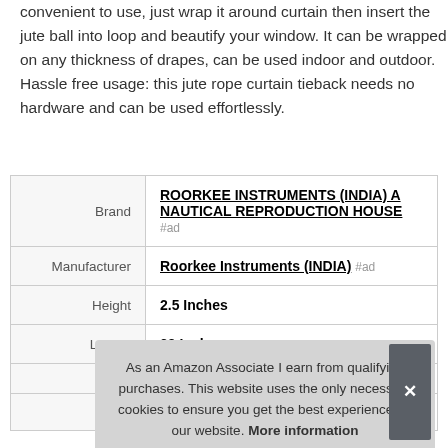convenient to use, just wrap it around curtain then insert the jute ball into loop and beautify your window. It can be wrapped on any thickness of drapes, can be used indoor and outdoor. Hassle free usage: this jute rope curtain tieback needs no hardware and can be used effortlessly.
|  |  |
| --- | --- |
| Brand | ROORKEE INSTRUMENTS (INDIA) A NAUTICAL REPRODUCTION HOUSE #ad |
| Manufacturer | Roorkee Instruments (INDIA) #ad |
| Height | 2.5 Inches |
| Length | 29 Inches |
| P... | ... |
| Model | NIRI 1978 |
As an Amazon Associate I earn from qualifying purchases. This website uses the only necessary cookies to ensure you get the best experience on our website. More information